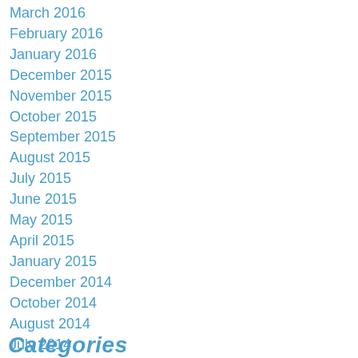March 2016
February 2016
January 2016
December 2015
November 2015
October 2015
September 2015
August 2015
July 2015
June 2015
May 2015
April 2015
January 2015
December 2014
October 2014
August 2014
July 2014
June 2014
May 2014
April 2014
Categories